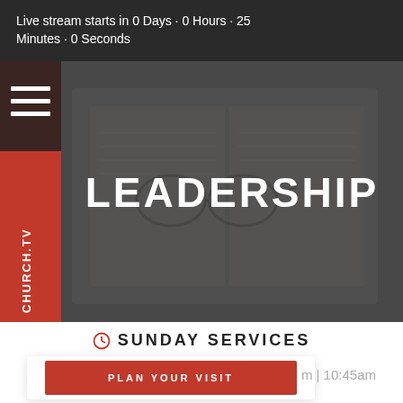Live stream starts in 0 Days · 0 Hours · 25 Minutes · 0 Seconds
[Figure (screenshot): Hero image of an open Bible with glasses resting on it, dark gray overlay. Orange sidebar strip on left with hamburger menu icon and rotated text 'CHURCH.TV'. Large white bold text 'LEADERSHIP' centered over the image.]
LEADERSHIP
SUNDAY SERVICES
m | 10:45am
PLAN YOUR VISIT